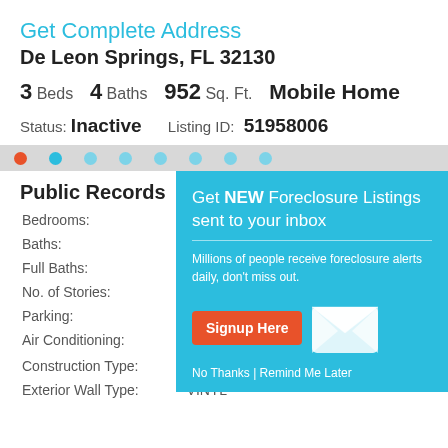Get Complete Address
De Leon Springs, FL 32130
3 Beds  4 Baths  952 Sq. Ft.  Mobile Home
Status: Inactive  Listing ID: 51958006
Public Records
Bedrooms:
Baths:
Full Baths:
No. of Stories:
Parking:
Air Conditioning:
Construction Type:   WOOD/STEEL
Exterior Wall Type:   VINYL
[Figure (infographic): Popup overlay on teal background advertising foreclosure listings email signup. Contains headline 'Get NEW Foreclosure Listings sent to your inbox', subtext 'Millions of people receive foreclosure alerts daily, don't miss out.', a red 'Signup Here' button, an envelope icon, and 'No Thanks | Remind Me Later' link text.]